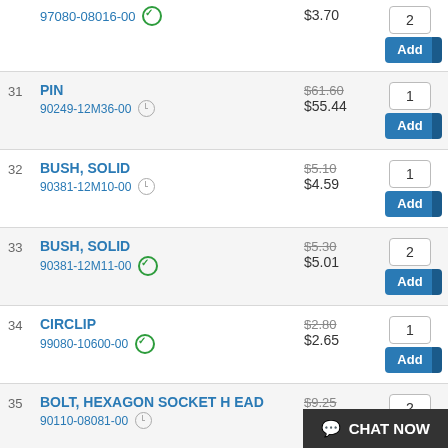97080-08016-00  $3.70  qty:2  Add
31  PIN  90249-12M36-00  $61.60 (crossed)  $55.44  qty:1  Add
32  BUSH, SOLID  90381-12M10-00  $5.10 (crossed)  $4.59  qty:1  Add
33  BUSH, SOLID  90381-12M11-00  $5.30 (crossed)  $5.01  qty:2  Add
34  CIRCLIP  99080-10600-00  $2.80 (crossed)  $2.65  qty:1  Add
35  BOLT, HEXAGON SOCKET HEAD  90110-08081-00  $9.25 (crossed)  $7.79  qty:2  Add
36  NUT, SELF-LOCKING  90185-08057-00  $9.75 (crossed)  $9.12  Add